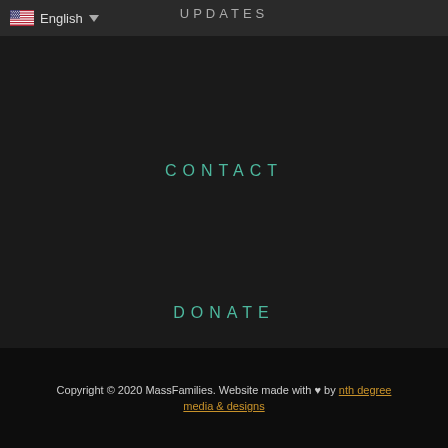[Figure (other): Language selector with US flag and dropdown arrow showing 'English']
UPDATES
CONTACT
DONATE
Copyright © 2020 MassFamilies. Website made with ♥ by nth degree media & designs